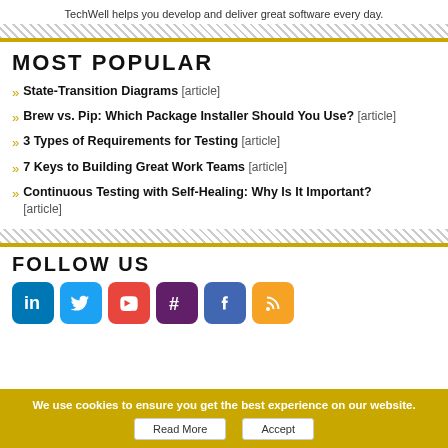TechWell helps you develop and deliver great software every day.
MOST POPULAR
» State-Transition Diagrams [article]
» Brew vs. Pip: Which Package Installer Should You Use? [article]
» 3 Types of Requirements for Testing [article]
» 7 Keys to Building Great Work Teams [article]
» Continuous Testing with Self-Healing: Why Is It Important? [article]
FOLLOW US
[Figure (infographic): Social media icons: LinkedIn, Twitter, YouTube, Slack, Facebook, RSS feed]
We use cookies to ensure you get the best experience on our website. Read More Accept